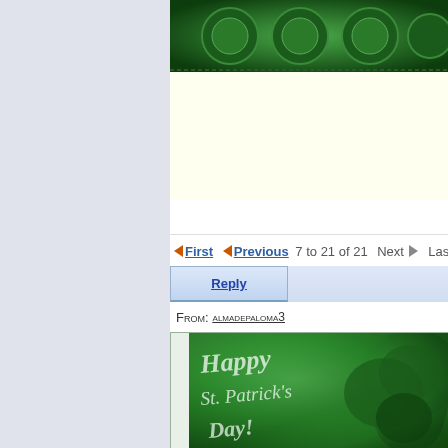[Figure (illustration): Green decorative image at top, partially visible, with dark green and metallic tones against a light yellow background]
First  Previous  7 to 21 of 21  Next  Last
Reply
From: almadepaloma3
[Figure (illustration): Happy St. Patrick's Day greeting card image with green shamrock/clover background and stylized white/silver script text]